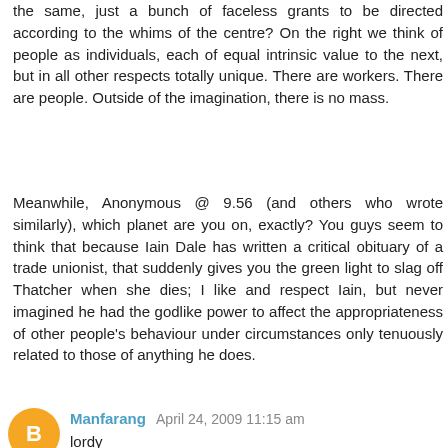the same, just a bunch of faceless grants to be directed according to the whims of the centre? On the right we think of people as individuals, each of equal intrinsic value to the next, but in all other respects totally unique. There are workers. There are people. Outside of the imagination, there is no mass.
Meanwhile, Anonymous @ 9.56 (and others who wrote similarly), which planet are you on, exactly? You guys seem to think that because Iain Dale has written a critical obituary of a trade unionist, that suddenly gives you the green light to slag off Thatcher when she dies; I like and respect Iain, but never imagined he had the godlike power to affect the appropriateness of other people's behaviour under circumstances only tenuously related to those of anything he does.
Reply
Manfarang April 24, 2009 11:15 am
lordy
"no mass"